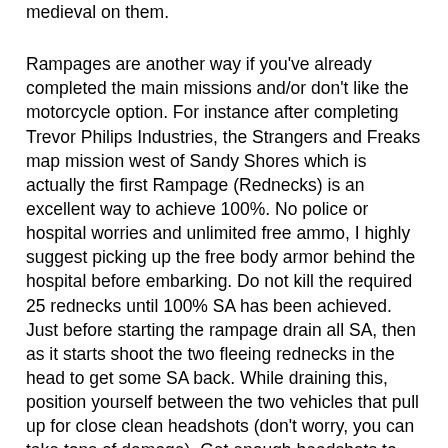medieval on them.
Rampages are another way if you've already completed the main missions and/or don't like the motorcycle option. For instance after completing Trevor Philips Industries, the Strangers and Freaks map mission west of Sandy Shores which is actually the first Rampage (Rednecks) is an excellent way to achieve 100%. No police or hospital worries and unlimited free ammo, I highly suggest picking up the free body armor behind the hospital before embarking. Do not kill the required 25 rednecks until 100% SA has been achieved. Just before starting the rampage drain all SA, then as it starts shoot the two fleeing rednecks in the head to get some SA back. While draining this, position yourself between the two vehicles that pull up for close clean headshots (don't worry, you can take tons of damage). Get enough headshots to completely fill SA, then immediately starting draining again. Now get into a rhythm of bleeding off some of the SA (enough that damage taken doesn't fill it back up before shooting, say 1/8th) while positioning yourself for the next headshot, then turn it off and shoot to fill SA in one headshot and immediately